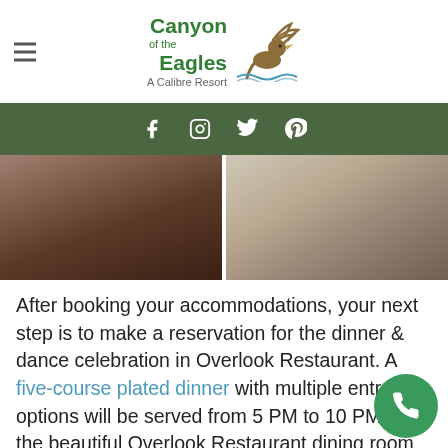Canyon of the Eagles — A Calibre Resort
[Figure (logo): Canyon of the Eagles logo with bird and 'A Calibre Resort' tagline]
[Figure (photo): Two restaurant interior/table setting photos side by side]
After booking your accommodations, your next step is to make a reservation for the dinner & dance celebration in Overlook Restaurant. A five-course plated dinner with multiple entrée options will be served from 5 PM to 10 PM in the beautiful Overlook Restaurant dining room or on the outdoor deck (weather permitting). Seating times are on a first-come basis with the last seating at 9 PM. Call Tami at 512-334-2070 ext. 2 to book the dinner & dance. Peruse our extensive wine & beer list and make a selection to accompany your meal.